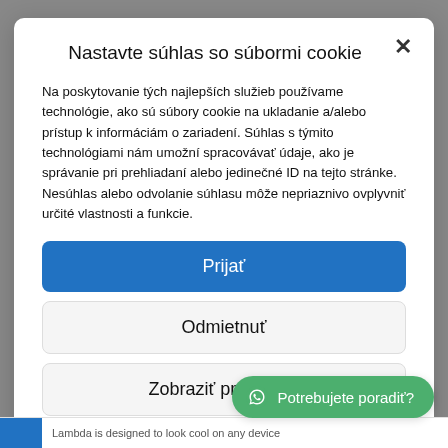Nastavte súhlas so súbormi cookie
Na poskytovanie tých najlepších služieb používame technológie, ako sú súbory cookie na ukladanie a/alebo prístup k informáciám o zariadení. Súhlas s týmito technológiami nám umožní spracovávať údaje, ako je správanie pri prehliadaní alebo jedinečné ID na tejto stránke. Nesúhlas alebo odvolanie súhlasu môže nepriaznivo ovplyvniť určité vlastnosti a funkcie.
Prijať
Odmietnuť
Zobraziť predvoľby
Zásady používania súbo...
Potrebujete poradiť?
Lambda is designed to look cool on any device